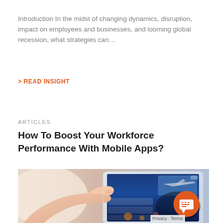Introduction In the midst of changing dynamics, disruption, impact on employees and businesses, and looming global recession, what strategies can…
> READ INSIGHT
ARTICLES
How To Boost Your Workforce Performance With Mobile Apps?
[Figure (photo): A person's hand using a finger to tap on a tablet screen displaying a blue app interface with an airplane image]